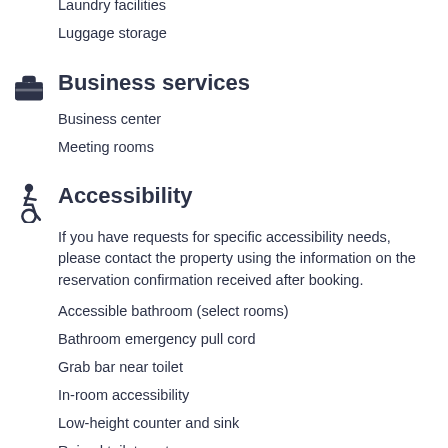Laundry facilities
Luggage storage
Business services
Business center
Meeting rooms
Accessibility
If you have requests for specific accessibility needs, please contact the property using the information on the reservation confirmation received after booking.
Accessible bathroom (select rooms)
Bathroom emergency pull cord
Grab bar near toilet
In-room accessibility
Low-height counter and sink
Raised toilet seat
Wheelchair-accessible registration desk